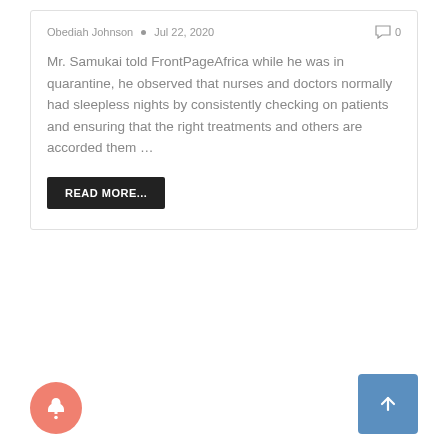Obediah Johnson • Jul 22, 2020  0
Mr. Samukai told FrontPageAfrica while he was in quarantine, he observed that nurses and doctors normally had sleepless nights by consistently checking on patients and ensuring that the right treatments and others are accorded them …
READ MORE...